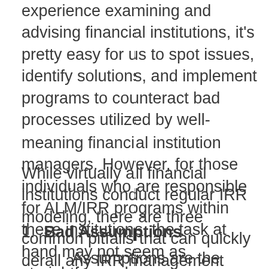experience examining and advising financial institutions, it's pretty easy for us to spot issues, identify solutions, and implement programs to counteract bad processes utilized by well-meaning financial institution managers. However, for those individuals who are responsible for ALM/IRR programs within these institutions, the task at hand may not seem as straightforward.
While virtually all financial institutions conduct regular IRR modeling, there are three common pitfalls that can quickly derail any IRR management program.
1. Bad Assumptions
Assumptions are the foundation of any financial model, and IRR models are no